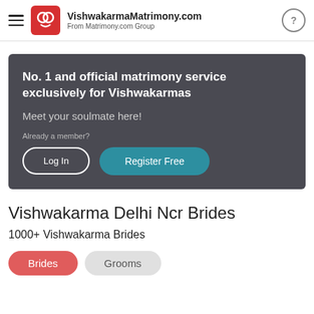VishwakarmaMatrimony.com From Matrimony.com Group
[Figure (infographic): Dark grey banner with headline 'No. 1 and official matrimony service exclusively for Vishwakarmas', subheading 'Meet your soulmate here!', member prompt, Log In and Register Free buttons]
Vishwakarma Delhi Ncr Brides
1000+ Vishwakarma Brides
Brides  Grooms